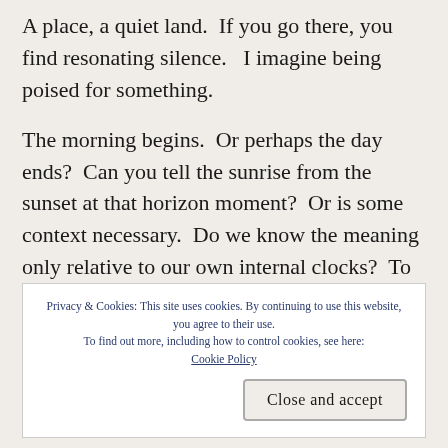A place, a quiet land.  If you go there, you find resonating silence.   I imagine being poised for something.
The morning begins.  Or perhaps the day ends?  Can you tell the sunrise from the sunset at that horizon moment?  Or is some context necessary.  Do we know the meaning only relative to our own internal clocks?  To our awakening or our soon arriving sleep?  Or is there some absolute physics of a
Privacy & Cookies: This site uses cookies. By continuing to use this website, you agree to their use.
To find out more, including how to control cookies, see here:
Cookie Policy
Close and accept